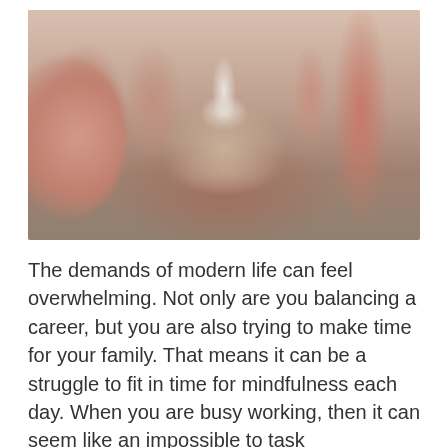[Figure (photo): A blurred photo showing a balance scale or wooden blocks being balanced by two hands, with a small white figure in the center, warm beige and salmon tones, suggesting work-life balance concept.]
The demands of modern life can feel overwhelming. Not only are you balancing a career, but you are also trying to make time for your family. That means it can be a struggle to fit in time for mindfulness each day. When you are busy working, then it can seem like an impossible to task to set aside for mindfulness each day.